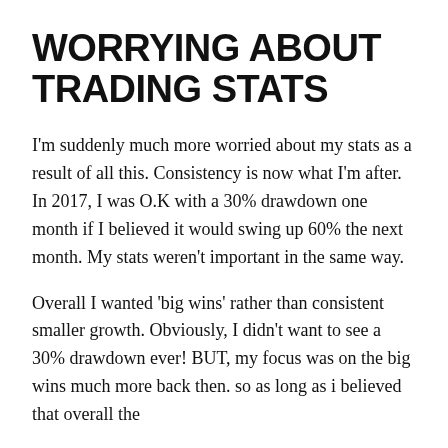WORRYING ABOUT TRADING STATS
I'm suddenly much more worried about my stats as a result of all this. Consistency is now what I'm after. In 2017, I was O.K with a 30% drawdown one month if I believed it would swing up 60% the next month. My stats weren't important in the same way.
Overall I wanted 'big wins' rather than consistent smaller growth. Obviously, I didn't want to see a 30% drawdown ever! BUT, my focus was on the big wins much more back then. so as long as i believed that overall the